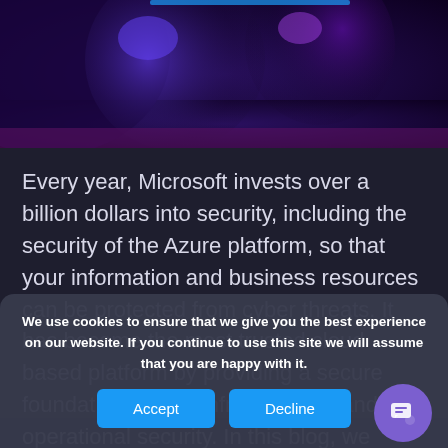[Figure (illustration): Dark purple/blue decorative background with glowing orbs or spherical shapes, dark gradient with purple and blue tones]
Every year, Microsoft invests over a billion dollars into security, including the security of the Azure platform, so that your information and business resources can be protected from cyber threats. It has become the most trusted cloud based platform by providing a secure foundation across infrastructural and operational security. In this blog, we would be
We use cookies to ensure that we give you the best experience on our website. If you continue to use this site we will assume that you are happy with it.